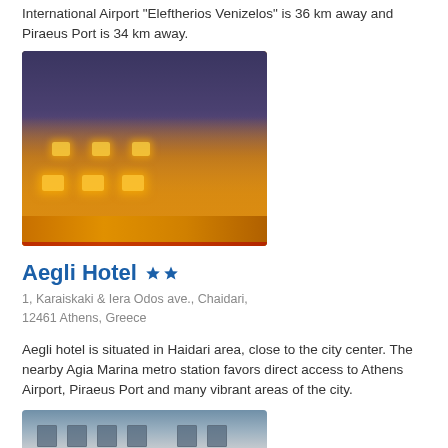International Airport "Eleftherios Venizelos" is 36 km away and Piraeus Port is 34 km away.
[Figure (photo): Night photo of a hotel building illuminated with warm yellow/orange lights against a twilight sky]
Aegli Hotel ★★
1, Karaiskaki & Iera Odos ave., Chaidari, 12461 Athens, Greece
Aegli hotel is situated in Haidari area, close to the city center. The nearby Agia Marina metro station favors direct access to Athens Airport, Piraeus Port and many vibrant areas of the city.
[Figure (photo): Daytime photo of a white multi-story hotel building exterior]